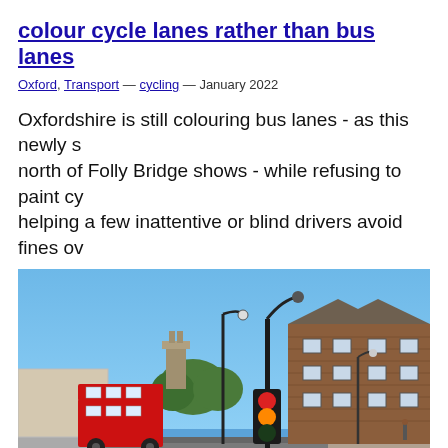colour cycle lanes rather than bus lanes
Oxford, Transport — cycling — January 2022
Oxfordshire is still colouring bus lanes - as this newly s north of Folly Bridge shows - while refusing to paint cy helping a few inattentive or blind drivers avoid fines ov
[Figure (photo): Street scene in Oxford near Folly Bridge showing a road with traffic lights at red and amber, a red double-decker bus, brick buildings on the right, a church tower visible in the background, and a clear blue sky. A traffic camera is mounted on a pole above the traffic lights.]